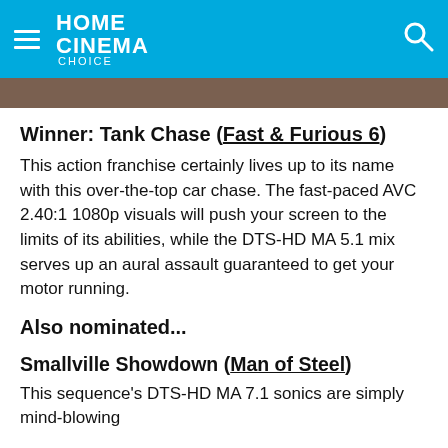HOME CINEMA Choice
[Figure (photo): Partial photo strip visible at top of content area, showing a dark scene from a movie]
Winner: Tank Chase (Fast & Furious 6)
This action franchise certainly lives up to its name with this over-the-top car chase. The fast-paced AVC 2.40:1 1080p visuals will push your screen to the limits of its abilities, while the DTS-HD MA 5.1 mix serves up an aural assault guaranteed to get your motor running.
Also nominated...
Smallville Showdown (Man of Steel)
This sequence's DTS-HD MA 7.1 sonics are simply mind-blowing